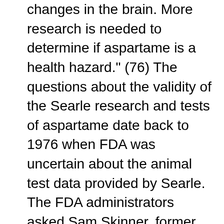changes in the brain. More research is needed to determine if aspartame is a health hazard." (76) The questions about the validity of the Searle research and tests of aspartame date back to 1976 when FDA was uncertain about the animal test data provided by Searle. The FDA administrators asked Sam Skinner, former U.S. attorney in the Northern District of Illinois, to convene a grand jury to investigate discrepancies in the animal test data provided by Searle. (15) On January 10, 1977, RDA chief counsel, Richard Merril, sent a 33-page letter to Skinner repeating the request for the grand jury investigation "into apparent violations of the Federal Food, Drug, and Cosmetic